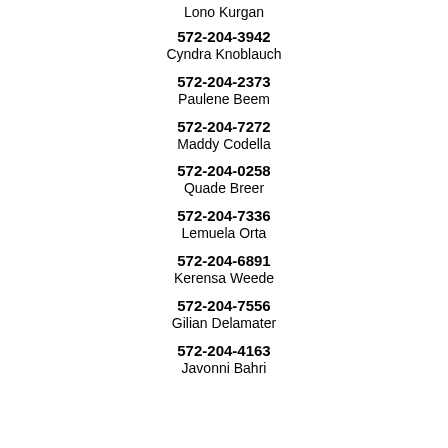Lono Kurgan
572-204-3942
Cyndra Knoblauch
572-204-2373
Paulene Beem
572-204-7272
Maddy Codella
572-204-0258
Quade Breer
572-204-7336
Lemuela Orta
572-204-6891
Kerensa Weede
572-204-7556
Gilian Delamater
572-204-4163
Javonni Bahri